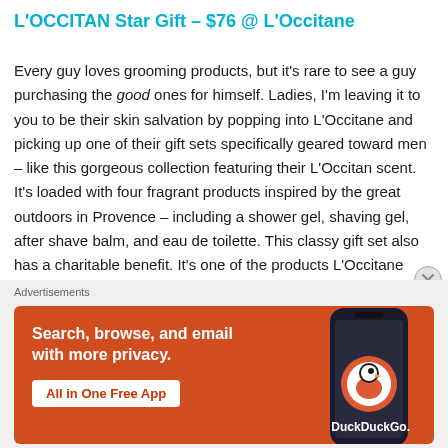L'OCCITAN Star Gift – $76 @ L'Occitane
Every guy loves grooming products, but it's rare to see a guy purchasing the good ones for himself. Ladies, I'm leaving it to you to be their skin salvation by popping into L'Occitane and picking up one of their gift sets specifically geared toward men – like this gorgeous collection featuring their L'Occitan scent. It's loaded with four fragrant products inspired by the great outdoors in Provence – including a shower gel, shaving gel, after shave balm, and eau de toilette. This classy gift set also has a charitable benefit. It's one of the products L'Occitane
Advertisements
[Figure (screenshot): DuckDuckGo advertisement banner with orange background showing text 'Search, browse, and email with more privacy. All in One Free App' with a phone mockup and DuckDuckGo logo on the right side.]